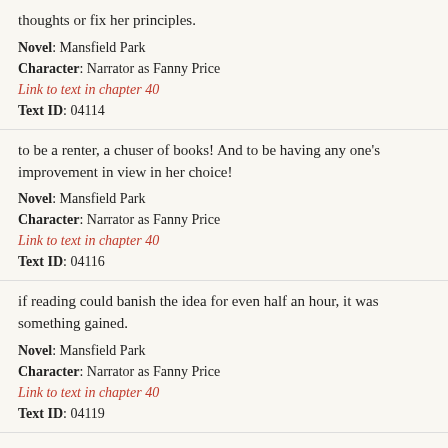thoughts or fix her principles.
Novel: Mansfield Park
Character: Narrator as Fanny Price
Link to text in chapter 40
Text ID: 04114
to be a renter, a chuser of books! And to be having any one's improvement in view in her choice!
Novel: Mansfield Park
Character: Narrator as Fanny Price
Link to text in chapter 40
Text ID: 04116
if reading could banish the idea for even half an hour, it was something gained.
Novel: Mansfield Park
Character: Narrator as Fanny Price
Link to text in chapter 40
Text ID: 04119
Either his going had been again delayed, or he had yet procured